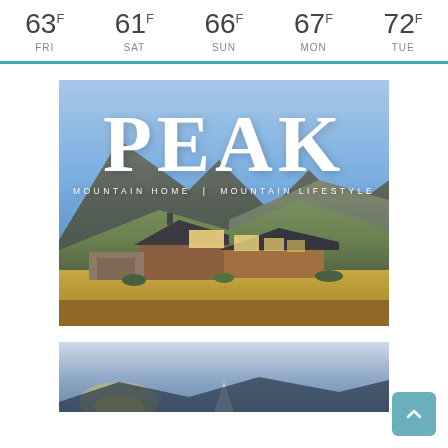[Figure (infographic): Weather forecast bar showing temperatures for FRI 63°F, SAT 61°F, SUN 66°F, MON 67°F, TUE 72°F with a teal bottom border]
[Figure (photo): PEAK Magazine cover - Mountain Home | Mountain Lifestyle - showing a modern mountain home with large windows set against rocky mountains and sky]
[Figure (photo): Partial view of a second image at the bottom showing mountain/sky scene, partially cut off]